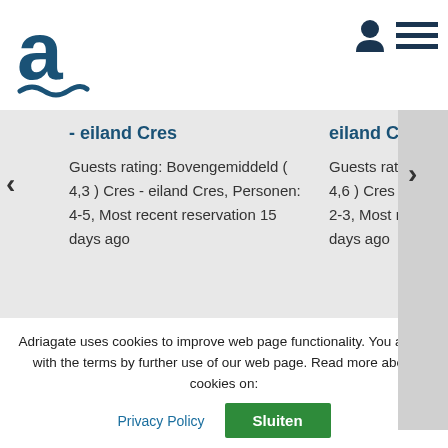[Figure (logo): Adriagate logo: lowercase letter 'a' with a wave symbol beneath, in dark teal color]
[Figure (other): User icon and hamburger menu icon in dark navy, top right corner of header]
- eiland Cres
Guests rating: Bovengemiddeld ( 4,3 ) Cres - eiland Cres, Personen: 4-5, Most recent reservation 15 days ago
eiland Cres
Guests rating: Bovengemiddeld ( 4,6 ) Cres - eiland Cres, Personen: 2-3, Most recent reservation 9 days ago
Adriagate uses cookies to improve web page functionality. You agree with the terms by further use of our web page. Read more about cookies on:
Privacy Policy
Sluiten